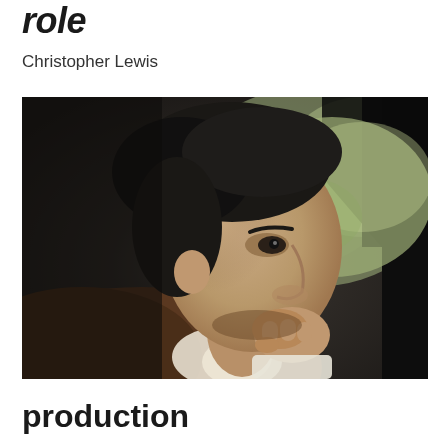role
Christopher Lewis
[Figure (photo): Black and white/color close-up profile photo of a middle-aged man with dark wavy hair, sitting in a car, resting his fist/hand near his chin in a thoughtful pose. He is wearing a brown jacket and white shirt. The background shows a blurred outdoor scene through the car window.]
production